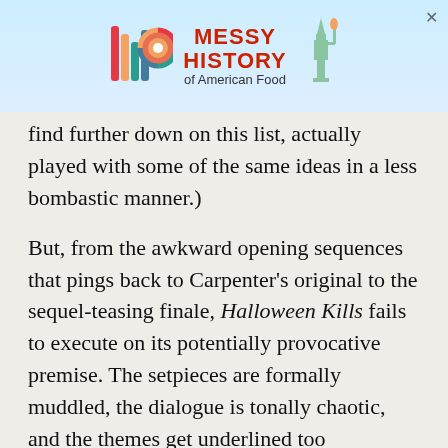[Figure (other): Advertisement banner for 'Messy History of American Food' with colorful logo and Statue of Liberty graphic]
find further down on this list, actually played with some of the same ideas in a less bombastic manner.)
But, from the awkward opening sequences that pings back to Carpenter's original to the sequel-teasing finale, Halloween Kills fails to execute on its potentially provocative premise. The setpieces are formally muddled, the dialogue is tonally chaotic, and the themes get underlined too aggressively, the script stabbing you repeatedly like one of The Shape's many victims. (The plot-line that follows Anthony Michael Hall as a bald, growly grown-up version of Tommy Doyle, the boy Laurie babysat in the original, reaches a ludicrous conclusion that will likely test your patience.) Though Jamie Lee